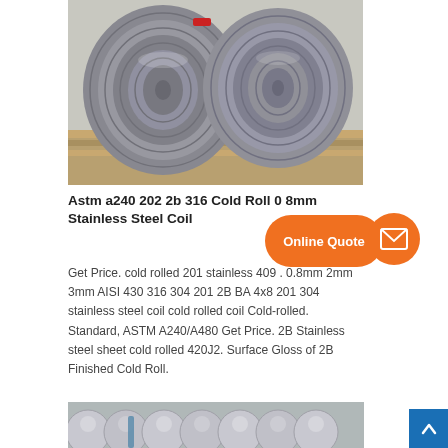[Figure (photo): Coiled stainless steel wire rolls wrapped in plastic, stacked on a pallet]
Astm a240 202 2b 316 Cold Roll 0 8mm Stainless Steel Coil
[Figure (infographic): Orange 'Online Quote' speech bubble button with arrow pointing to orange circular mail/envelope icon]
Get Price. cold rolled 201 stainless 409 . 0.8mm 2mm 3mm AISI 430 316 304 201 2B BA 4x8 201 304 stainless steel coil cold rolled coil Cold-rolled. Standard, ASTM A240/A480 Get Price. 2B Stainless steel sheet cold rolled 420J2. Surface Gloss of 2B Finished Cold Roll.
[Figure (photo): Bundle of stainless steel round bars/rods tied together, viewed from end]